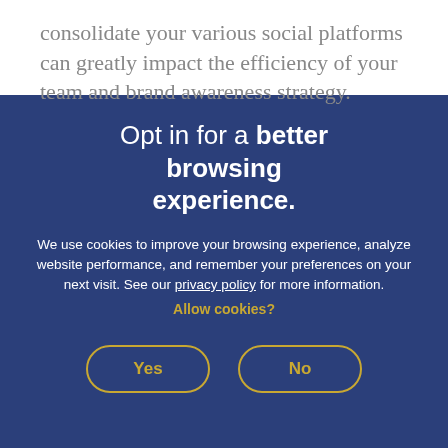consolidate your various social platforms can greatly impact the efficiency of your team and brand awareness strategy.
Opt in for a better browsing experience.
We use cookies to improve your browsing experience, analyze website performance, and remember your preferences on your next visit. See our privacy policy for more information. Allow cookies?
Yes
No